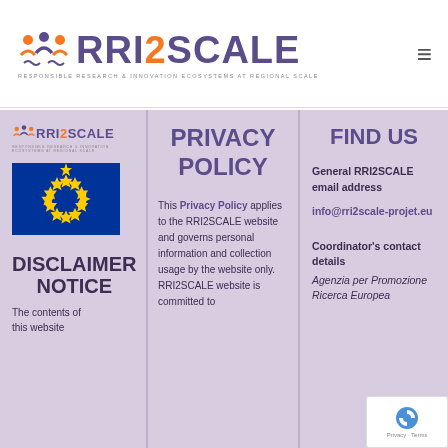[Figure (logo): RRI2SCALE logo with icon showing three people figures and text 'RRI2SCALE - Responsible Research & Innovation Ecosystems at Regional Scale']
RRI2SCALE - Responsible Research & Innovation Ecosystems at Regional Scale
[Figure (logo): Small RRI2SCALE logo in footer left column]
[Figure (photo): EU flag - blue background with yellow circle of stars]
DISCLAIMER NOTICE
The contents of this website
PRIVACY POLICY
This Privacy Policy applies to the RRI2SCALE website and governs personal information and collection usage by the website only. RRI2SCALE website is committed to
FIND US
General RRI2SCALE email address
info@rri2scale-projet.eu
Coordinator's contact details
Agenzia per Promozione Ricerca Europea